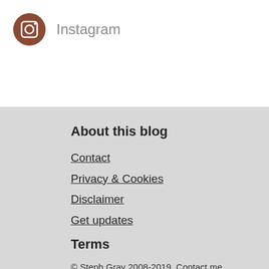[Figure (logo): Instagram icon: brown/rust colored circle with a white camera icon inside]
Instagram
About this blog
Contact
Privacy & Cookies
Disclaimer
Get updates
Terms
© Steph Gray 2008-2019. Contact me about free/paid content licensing.
What's with the weird pictures?